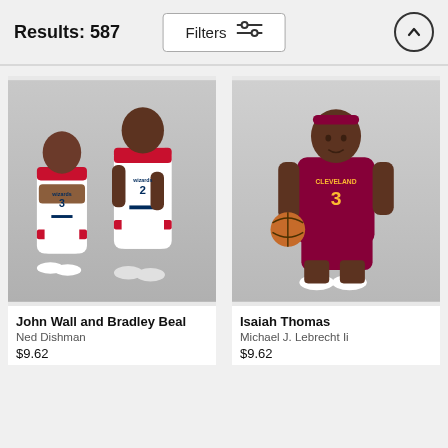Results: 587
[Figure (screenshot): Filters button with sliders icon]
[Figure (photo): John Wall and Bradley Beal NBA players in Washington Wizards uniforms]
John Wall and Bradley Beal
Ned Dishman
$9.62
[Figure (photo): Isaiah Thomas NBA player in Cleveland Cavaliers uniform holding basketball]
Isaiah Thomas
Michael J. Lebrecht Ii
$9.62